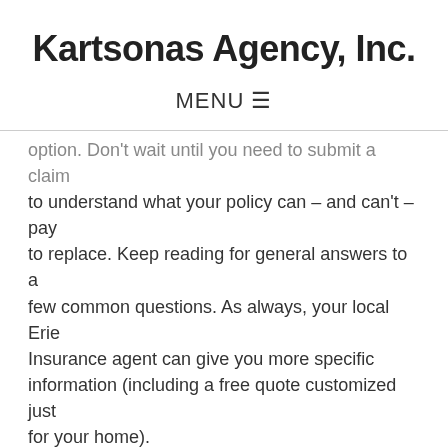Kartsonas Agency, Inc.
MENU ☰
option. Don't wait until you need to submit a claim to understand what your policy can – and can't – pay to replace. Keep reading for general answers to a few common questions. As always, your local Erie Insurance agent can give you more specific information (including a free quote customized just for your home).
How Does Homeowners